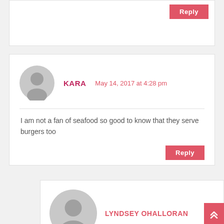[Figure (other): Reply button at top of page for previous comment]
KARA   May 14, 2017 at 4:28 pm
I am not a fan of seafood so good to know that they serve burgers too
[Figure (other): Reply button for Kara comment]
LYNDSEY OHALLORAN